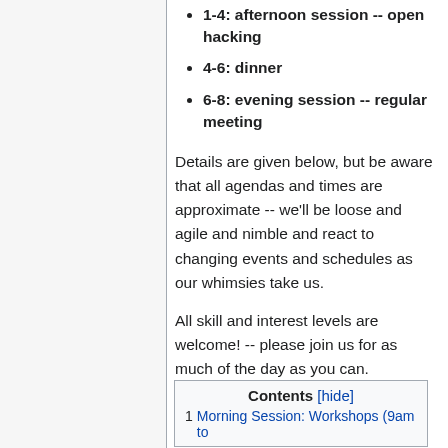1-4: afternoon session -- open hacking
4-6: dinner
6-8: evening session -- regular meeting
Details are given below, but be aware that all agendas and times are approximate -- we'll be loose and agile and nimble and react to changing events and schedules as our whimsies take us.
All skill and interest levels are welcome! -- please join us for as much of the day as you can.
Contents [hide]
1  Morning Session: Workshops (9am to